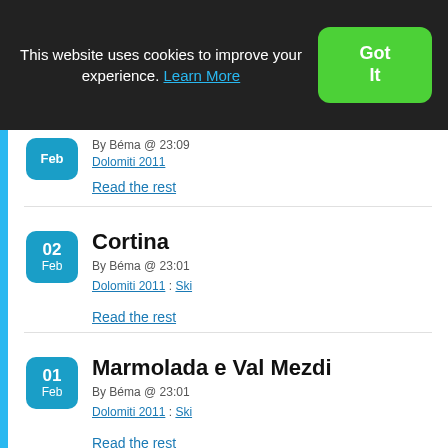This website uses cookies to improve your experience. Learn More
Got It
By Béma @ 23:09
Dolomiti 2011
Read the rest
Cortina
By Béma @ 23:01
Dolomiti 2011 : Ski
Read the rest
Marmolada e Val Mezdi
By Béma @ 23:01
Dolomiti 2011 : Ski
Read the rest